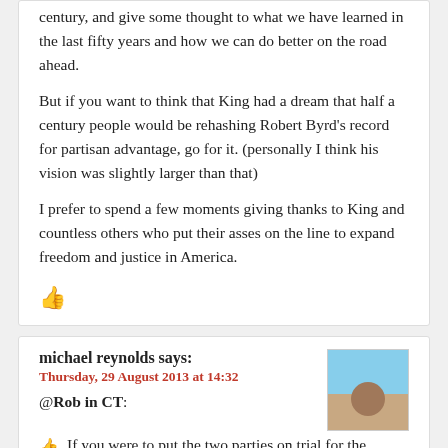century, and give some thought to what we have learned in the last fifty years and how we can do better on the road ahead.
But if you want to think that King had a dream that half a century people would be rehashing Robert Byrd's record for partisan advantage, go for it. (personally I think his vision was slightly larger than that)
I prefer to spend a few moments giving thanks to King and countless others who put their asses on the line to expand freedom and justice in America.
👍
michael reynolds says:
Thursday, 29 August 2013 at 14:32
@Rob in CT:
If you were to put the two parties on trial for the totality